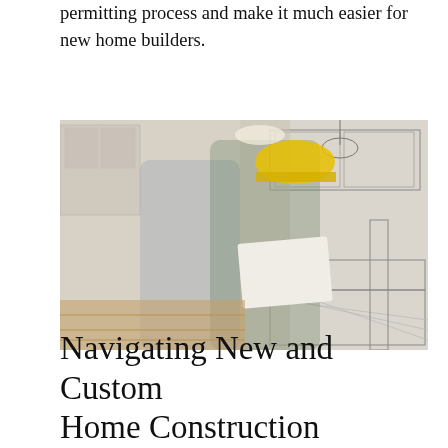permitting process and make it much easier for new home builders.
[Figure (photo): A woman wearing a pink bandana and denim jacket and a man wearing a yellow hard hat and green plaid shirt look at building plans inside a kitchen, with a pencil-sketch architectural drawing of a kitchen visible in the background.]
Navigating New and Custom Home Construction